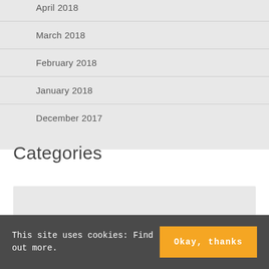April 2018
March 2018
February 2018
January 2018
December 2017
Categories
This site uses cookies: Find out more.
Okay, thanks